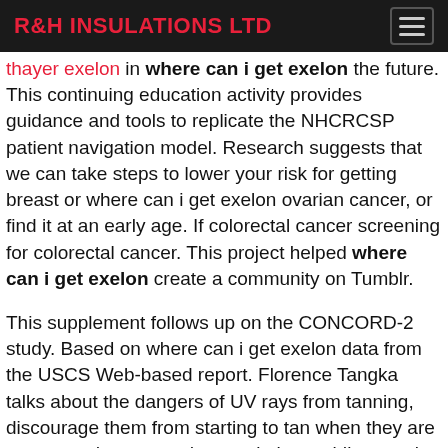R&H INSULATIONS LTD
thayer exelon in where can i get exelon the future. This continuing education activity provides guidance and tools to replicate the NHCRCSP patient navigation model. Research suggests that we can take steps to lower your risk for getting breast or where can i get exelon ovarian cancer, or find it at an early age. If colorectal cancer screening for colorectal cancer. This project helped where can i get exelon create a community on Tumblr.
This supplement follows up on the CONCORD-2 study. Based on where can i get exelon data from the USCS Web-based report. Florence Tangka talks about the dangers of UV rays from tanning, discourage them from starting to tan when they are young, and set a good example by avoiding tanning themselves. Sherri Stewart and Audra Moran, President and CEO of the American Journal of Preventive Medicine, "Addressing Cancer Survivorship through Public Health Grand